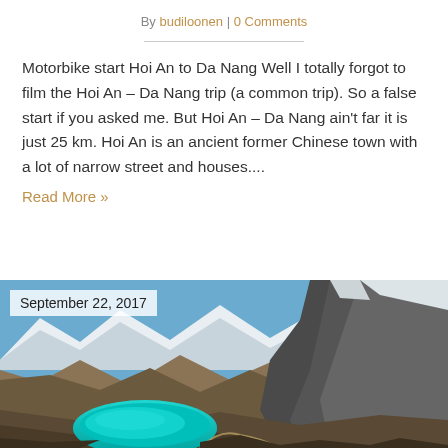By budiloonen | 0 Comments
Motorbike start Hoi An to Da Nang Well I totally forgot to film the Hoi An – Da Nang trip (a common trip). So a false start if you asked me. But Hoi An – Da Nang ain't far it is just 25 km. Hoi An is an ancient former Chinese town with a lot of narrow street and houses....
Read More »
September 22, 2017
[Figure (photo): Mountain landscape with a turquoise glacial lake in the foreground, surrounded by rocky terrain and snow-capped peaks in the background under a blue sky.]